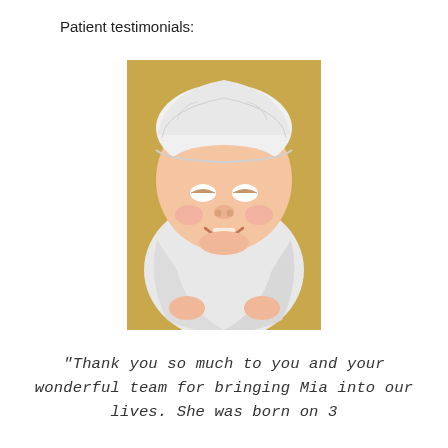Patient testimonials:
[Figure (photo): Photograph of a smiling newborn baby wearing a white knit hat and wrapped in a white blanket, photographed against a yellow background.]
“Thank you so much to you and your wonderful team for bringing Mia into our lives. She was born on 3